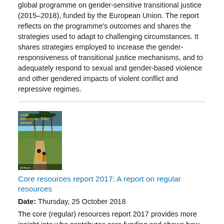global programme on gender-sensitive transitional justice (2015–2018), funded by the European Union. The report reflects on the programme's outcomes and shares the strategies used to adapt to challenging circumstances. It shares strategies employed to increase the gender-responsiveness of transitional justice mechanisms, and to adequately respond to sexual and gender-based violence and other gendered impacts of violent conflict and repressive regimes.
[Figure (photo): Book cover of 'Core resources report 2017' showing palm trees and women walking on a path in what appears to be an African setting. Title text in gold/yellow on dark background.]
Core resources report 2017: A report on regular resources
Date: Thursday, 25 October 2018
The core (regular) resources report 2017 provides more insight into who contributes core funding and shows how the funds are used to drive results by highlighting UN Women's key results in 2017. The report acknowledges the generosity of UN Women's core funding partners.